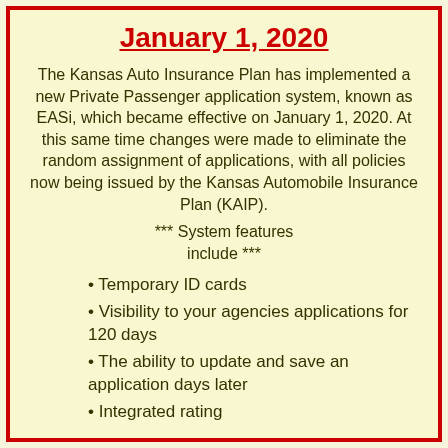January 1, 2020
The Kansas Auto Insurance Plan has implemented a new Private Passenger application system, known as EASi, which became effective on January 1, 2020. At this same time changes were made to eliminate the random assignment of applications, with all policies now being issued by the Kansas Automobile Insurance Plan (KAIP).
*** System features include ***
Temporary ID cards
Visibility to your agencies applications for 120 days
The ability to update and save an application days later
Integrated rating